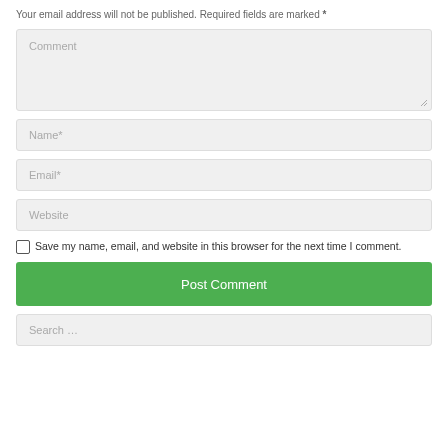Your email address will not be published. Required fields are marked *
Comment
Name*
Email*
Website
Save my name, email, and website in this browser for the next time I comment.
Post Comment
Search ...